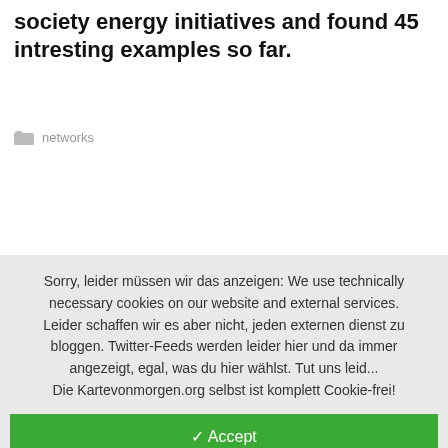society energy initiatives and found 45 intresting examples so far.
networks
Leave a comment
Sorry, leider müssen wir das anzeigen: We use technically necessary cookies on our website and external services. Leider schaffen wir es aber nicht, jeden externen dienst zu bloggen. Twitter-Feeds werden leider hier und da immer angezeigt, egal, was du hier wählst. Tut uns leid... Die Kartevonmorgen.org selbst ist komplett Cookie-frei!
✓ Accept
Customize
✕ Reject